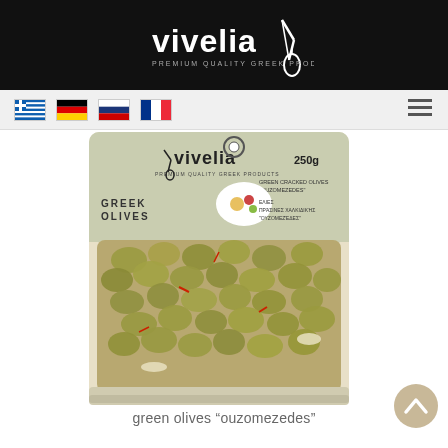vivelia – PREMIUM QUALITY GREEK PRODUCTS
[Figure (logo): Vivelia brand logo with fork/olive icon on black background]
[Figure (screenshot): Navigation bar with Greek, German, Russian, French flags and hamburger menu]
[Figure (photo): Product photo: 250g package of Vivelia Greek green olives ouzomezedes]
green olives “ouzomezedes”